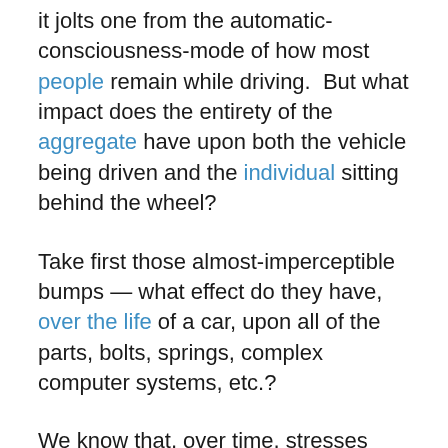it jolts one from the automatic-consciousness-mode of how most people remain while driving.  But what impact does the entirety of the aggregate have upon both the vehicle being driven and the individual sitting behind the wheel?
Take first those almost-imperceptible bumps — what effect do they have, over the life of a car, upon all of the parts, bolts, springs, complex computer systems, etc.?
We know that, over time, stresses and metal fatigue over many trips and upon thousands of miles of travel can result in the sudden breakup of an airplane engine, or when a catastrophic event suddenly occurs where a car stops running or a plane crumbles in mid-flight, we come to the realization that the aggregate of imperceptible bumps can, over time, cumulatively have the effect of a